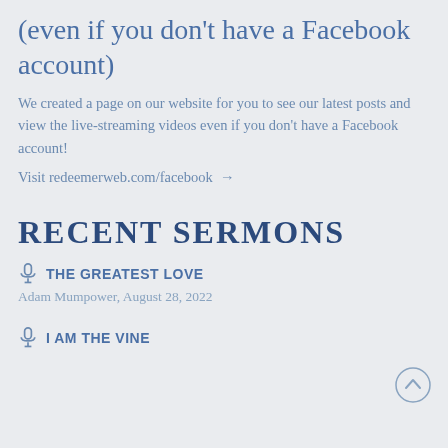(even if you don't have a Facebook account)
We created a page on our website for you to see our latest posts and view the live-streaming videos even if you don't have a Facebook account!
Visit redeemerweb.com/facebook →
RECENT SERMONS
THE GREATEST LOVE
Adam Mumpower, August 28, 2022
I AM THE VINE